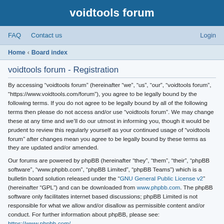voidtools forum
FAQ   Contact us   Login
Home › Board index
voidtools forum - Registration
By accessing “voidtools forum” (hereinafter “we”, “us”, “our”, “voidtools forum”, “https://www.voidtools.com/forum”), you agree to be legally bound by the following terms. If you do not agree to be legally bound by all of the following terms then please do not access and/or use “voidtools forum”. We may change these at any time and we’ll do our utmost in informing you, though it would be prudent to review this regularly yourself as your continued usage of “voidtools forum” after changes mean you agree to be legally bound by these terms as they are updated and/or amended.
Our forums are powered by phpBB (hereinafter “they”, “them”, “their”, “phpBB software”, “www.phpbb.com”, “phpBB Limited”, “phpBB Teams”) which is a bulletin board solution released under the “GNU General Public License v2” (hereinafter “GPL”) and can be downloaded from www.phpbb.com. The phpBB software only facilitates internet based discussions; phpBB Limited is not responsible for what we allow and/or disallow as permissible content and/or conduct. For further information about phpBB, please see: https://www.phpbb.com/.